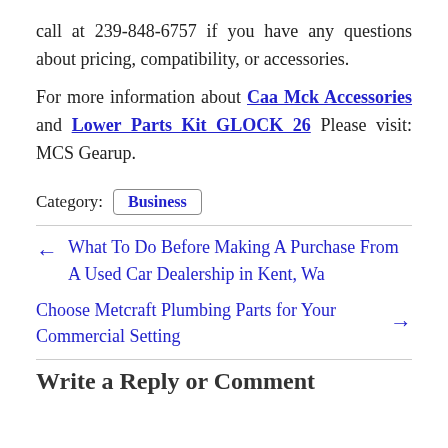call at 239-848-6757 if you have any questions about pricing, compatibility, or accessories.
For more information about Caa Mck Accessories and Lower Parts Kit GLOCK 26 Please visit: MCS Gearup.
Category: Business
← What To Do Before Making A Purchase From A Used Car Dealership in Kent, Wa
Choose Metcraft Plumbing Parts for Your Commercial Setting →
Write a Reply or Comment